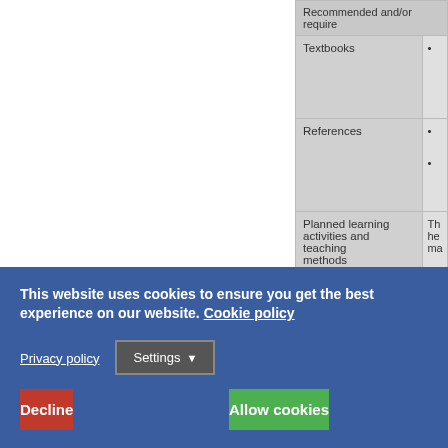| Recommended and/or required |  |
| --- | --- |
| Textbooks | • |
| References | •
• |
| Planned learning activities and teaching methods | The
hel
ma |
| Assessment methods and criteria | M
M
Fi |
| Language of instruction | En |
| Work placement(s) | No |
This website uses cookies to ensure you get the best experience on our website. Cookie policy
Privacy policy
Settings
Decline
Allow cookies
©2018 Politecnico University